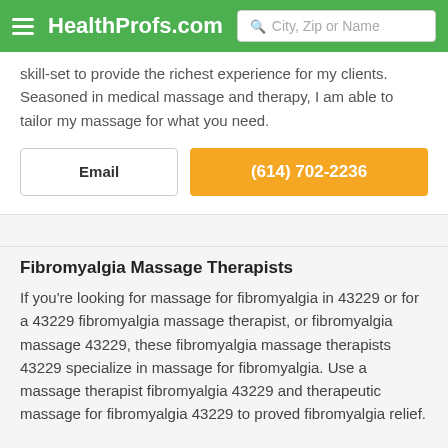HealthProfs.com  City, Zip or Name
skill-set to provide the richest experience for my clients. Seasoned in medical massage and therapy, I am able to tailor my massage for what you need.
Email
(614) 702-2236
Fibromyalgia Massage Therapists
If you're looking for massage for fibromyalgia in 43229 or for a 43229 fibromyalgia massage therapist, or fibromyalgia massage 43229, these fibromyalgia massage therapists 43229 specialize in massage for fibromyalgia. Use a massage therapist fibromyalgia 43229 and therapeutic massage for fibromyalgia 43229 to proved fibromyalgia relief.